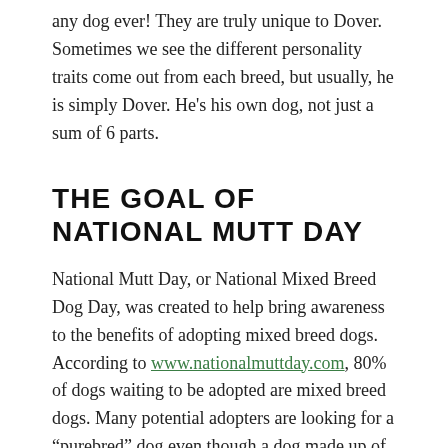any dog ever! They are truly unique to Dover. Sometimes we see the different personality traits come out from each breed, but usually, he is simply Dover. He's his own dog, not just a sum of 6 parts.
THE GOAL OF NATIONAL MUTT DAY
National Mutt Day, or National Mixed Breed Dog Day, was created to help bring awareness to the benefits of adopting mixed breed dogs. According to www.nationalmuttday.com, 80% of dogs waiting to be adopted are mixed breed dogs. Many potential adopters are looking for a “purebred” dog even though a dog made up of two, three, four, or even six breeds like our Dover could be the perfect dog for them.